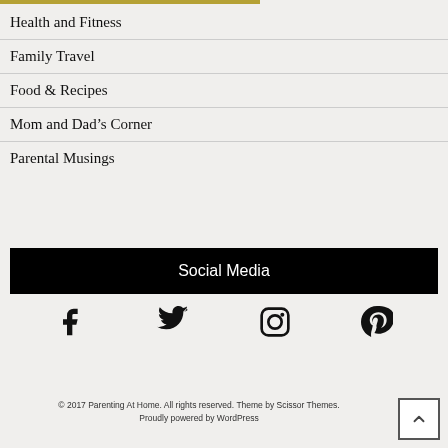Health and Fitness
Family Travel
Food & Recipes
Mom and Dad’s Corner
Parental Musings
Social Media
[Figure (other): Social media icons: Facebook, Twitter, Instagram, Pinterest]
© 2017 Parenting At Home. All rights reserved. Theme by Scissor Themes. Proudly powered by WordPress